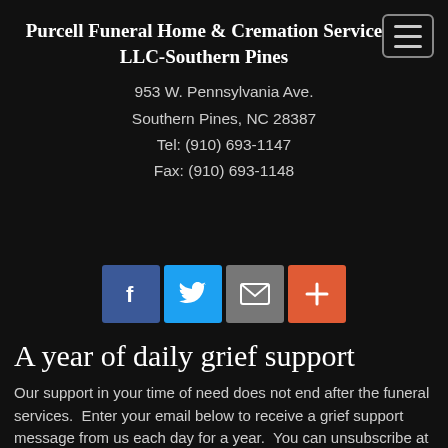[Figure (other): Hamburger menu icon button (three horizontal lines) in a rounded rectangle border, top-right corner]
Purcell Funeral Home & Cremation Service LLC-Southern Pines
953 W. Pennsylvania Ave.
Southern Pines, NC 28387
Tel: (910) 693-1147
Fax: (910) 693-1148
[Figure (infographic): Row of four social media icon buttons: Facebook (blue, f), Twitter (light blue, bird), Email (gray, envelope), Plus/More (orange-red, +)]
A year of daily grief support
Our support in your time of need does not end after the funeral services.  Enter your email below to receive a grief support message from us each day for a year.  You can unsubscribe at any time.